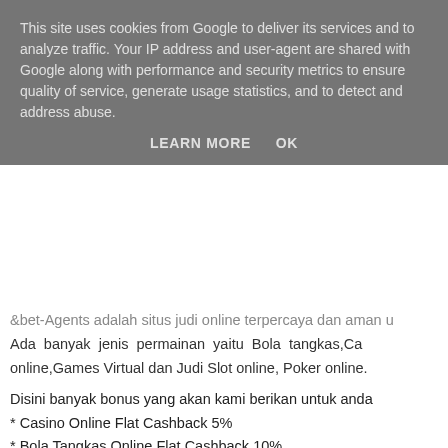This site uses cookies from Google to deliver its services and to analyze traffic. Your IP address and user-agent are shared with Google along with performance and security metrics to ensure quality of service, generate usage statistics, and to detect and address abuse.
LEARN MORE   OK
&bet-Agents adalah situs judi online terpercaya dan aman u Ada banyak jenis permainan yaitu Bola tangkas,Ca online,Games Virtual dan Judi Slot online, Poker online.
Disini banyak bonus yang akan kami berikan untuk anda
* Casino Online Flat Cashback 5%
* Bola Tangkas Online Flat Cashback 10%
* Bonus Referral Permainan Online 7%+2%
* Bonus Returning Member 200.000
Menerima deposit dari seluruh Bank Di Indonesia, Dan semu
>> Cara menang poker online <<
Sbobet
Reply